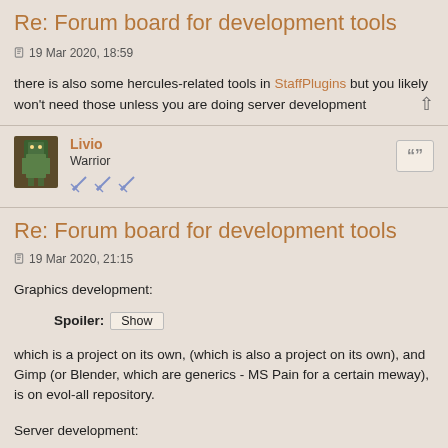Re: Forum board for development tools
19 Mar 2020, 18:59
there is also some hercules-related tools in StaffPlugins but you likely won't need those unless you are doing server development
Livio
Warrior
Re: Forum board for development tools
19 Mar 2020, 21:15
Graphics development:
Spoiler: Show
which is a project on its own, (which is also a project on its own), and Gimp (or Blender, which are generics - MS Pain for a certain meway), is on evol-all repository.
Server development:
Spoiler: Show